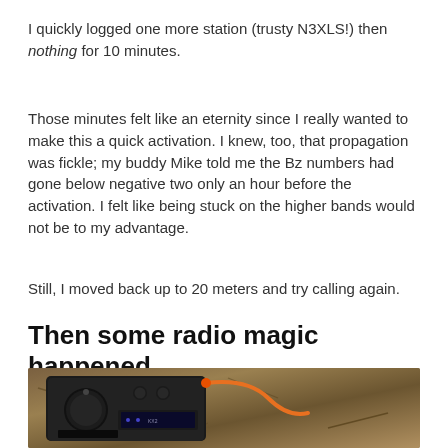I quickly logged one more station (trusty N3XLS!) then nothing for 10 minutes.
Those minutes felt like an eternity since I really wanted to make this a quick activation. I knew, too, that propagation was fickle; my buddy Mike told me the Bz numbers had gone below negative two only an hour before the activation. I felt like being stuck on the higher bands would not be to my advantage.
Still, I moved back up to 20 meters and try calling again.
Then some radio magic happened...
[Figure (photo): Close-up photograph of a portable amateur radio transceiver with black knobs and controls, sitting outdoors on what appears to be dry grass or leaf litter ground. An orange cable or antenna connector is visible.]